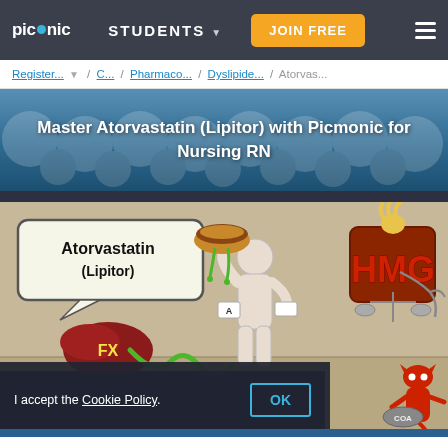picmonic  STUDENTS ▼  JOIN FREE  ≡
Register... ▼ / C... / Pharmaco... / Dyslipide... / Atorvas...
Master Atorvastatin (Lipitor) with Picmonic for Nursing RN
[Figure (illustration): Picmonic educational illustration showing Atorvastatin (Lipitor) with cartoon characters including a muscular figure holding a burger, an HMG sign, liver with FX label, and a red devil figure with COA label]
I accept the Cookie Policy.  OK